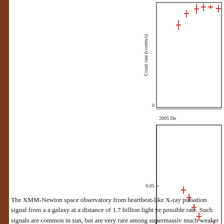[Figure (continuous-plot): Two-panel X-ray light curve plot showing count rate (counts/s) vs time. Upper panel shows data points with error bars (red crosses) at higher count rates. Lower panel labeled '2005 De[c]' shows data at lower count rates around 0.05 counts/s. Y-axis labeled 'Count rate (counts/s)'. X-axis shows '0' at bottom. Red error bar data points scattered across both panels.]
The XMM-Newton space observatory from heartbeat-like X-ray pulsation signal from a a galaxy at a distance of 1.7 billion light ye possible rate. Such signals are common in sun, but are very rare among supermassiv much weaker signals.
The pulse rate is once per 3.8 hours (see t